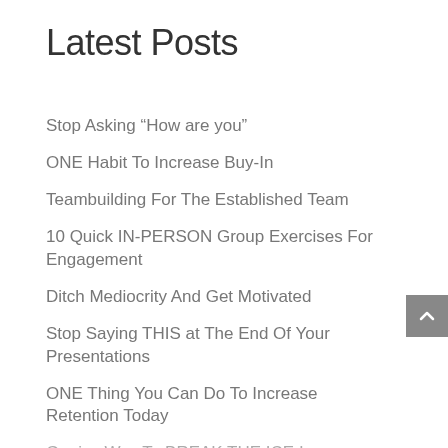Latest Posts
Stop Asking “How are you”
ONE Habit To Increase Buy-In
Teambuilding For The Established Team
10 Quick IN-PERSON Group Exercises For Engagement
Ditch Mediocrity And Get Motivated
Stop Saying THIS at The End Of Your Presentations
ONE Thing You Can Do To Increase Retention Today
Genius Way To BREAK THE ICE In Everyday Life